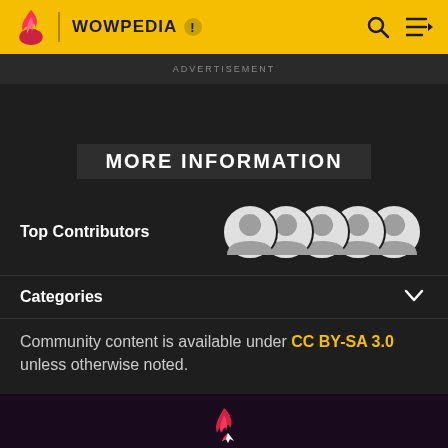WOWPEDIA
ADVERTISEMENT
MORE INFORMATION
Top Contributors
Categories
Community content is available under CC BY-SA 3.0 unless otherwise noted.